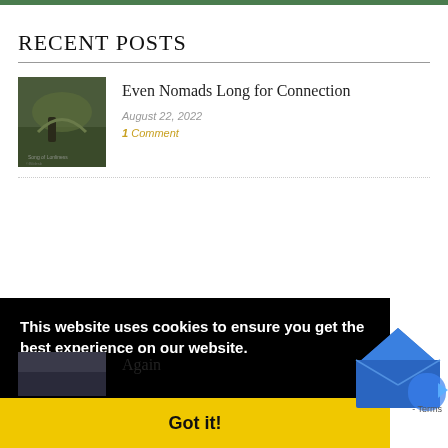RECENT POSTS
Even Nomads Long for Connection
August 22, 2022
1 Comment
This website uses cookies to ensure you get the best experience on our website. Learn more
Got it!
Again